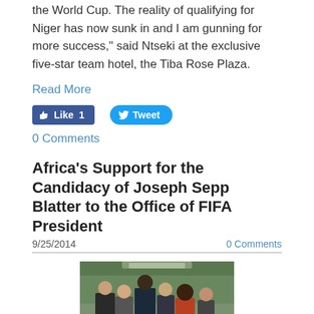the World Cup. The reality of qualifying for Niger has now sunk in and I am gunning for more success," said Ntseki at the exclusive five-star team hotel, the Tiba Rose Plaza.
Read More
[Figure (other): Social media buttons: Facebook Like (1) and Twitter Tweet]
0 Comments
Africa's Support for the Candidacy of Joseph Sepp Blatter to the Office of FIFA President
9/25/2014
0 Comments
[Figure (photo): Group of people at an outdoor ribbon-cutting or ceremonial event, with officials in formal attire and traditional dress cutting a green ribbon.]
We, members of the Executive Committee of the African Football Confederation and African members of the FIFA Executive